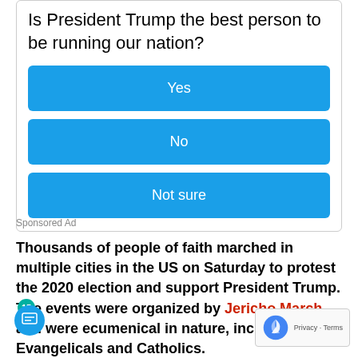Is President Trump the best person to be running our nation?
[Figure (other): Poll widget with three blue buttons: Yes, No, Not sure]
Sponsored Ad
Thousands of people of faith marched in multiple cities in the US on Saturday to protest the 2020 election and support President Trump. The events were organized by Jericho March and were ecumenical in nature, including Jews, Evangelicals and Catholics.